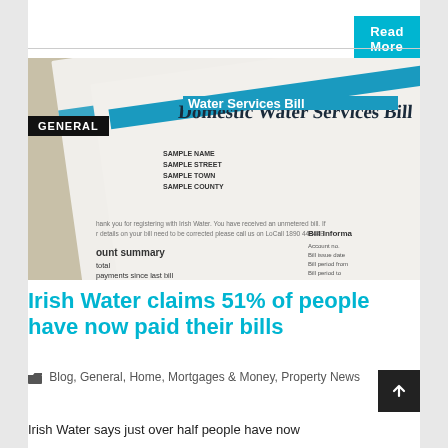Read More →
[Figure (photo): Photo of an Irish Water Domestic Water Services Bill with 'GENERAL' badge overlay. The bill shows sample name and address fields, account summary section, and bill information section.]
Irish Water claims 51% of people have now paid their bills
Blog, General, Home, Mortgages & Money, Property News
Irish Water says just over half people have now